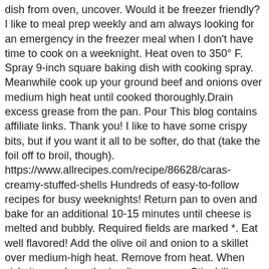dish from oven, uncover. Would it be freezer friendly? I like to meal prep weekly and am always looking for an emergency in the freezer meal when I don't have time to cook on a weeknight. Heat oven to 350° F. Spray 9-inch square baking dish with cooking spray. Meanwhile cook up your ground beef and onions over medium high heat until cooked thoroughly.Drain excess grease from the pan. Pour This blog contains affiliate links. Thank you! I like to have some crispy bits, but if you want it all to be softer, do that (take the foil off to broil, though). https://www.allrecipes.com/recipe/86628/caras-creamy-stuffed-shells Hundreds of easy-to-follow recipes for busy weeknights! Return pan to oven and bake for an additional 10-15 minutes until cheese is melted and bubbly. Required fields are marked *. Eat well flavored! Add the olive oil and onion to a skillet over medium-high heat. Remove from heat. When sick, it speeds up the healing process. Stir chili powder, cream cheese and 1/4 cup of the taco sauce into the beef mixture. Cover; bake 20 minutes. I think 1.5 cups is enough, but you could definitely add a little more if you want it extra cheesy. Jumbo stuffed shells with meat sauce (ground beef), baked into a dish with lots of cheese, served hot and fresh. Remove the tomatoes and when they are cool, peel the skin off with your hands). Traditional chicken soup is made from chicken broth, chunks of chicken, and vegetables like carrots, celery, and onion. Remove from heat and … Then bake it until hot & bubbly when you're ready. Add in the taco seasoning and stir to